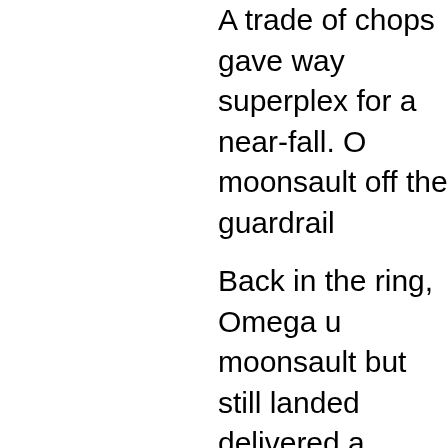A trade of chops gave way to a superplex for a near-fall. O moonsault off the guardrail
Back in the ring, Omega u moonsault but still landed delivered a springboard cl ring apron. Hangman tried followed with a baseball sl
Omega delivered a tope, w escaped consecutive snap ramp. Page tried for the D a powerbomb attempt, tho ramp.
An exchange of strikes ga elbow. The de facto heel s near-fall.
The pace quickened. Ome answered with a discus cl he narrowly avoided defea Page earned another dra